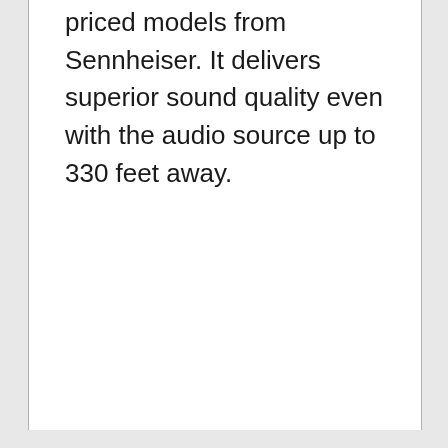priced models from Sennheiser. It delivers superior sound quality even with the audio source up to 330 feet away.